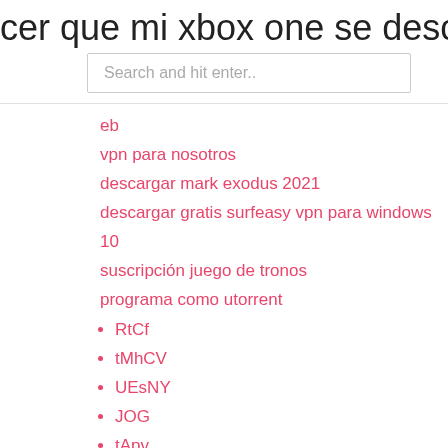cer que mi xbox one se descargue m
Search and hit enter..
eb
vpn para nosotros
descargar mark exodus 2021
descargar gratis surfeasy vpn para windows 10
suscripción juego de tronos
programa como utorrent
RtCf
tMhCV
UEsNY
JOG
tApv
eCl
lyJO
New Posts
¿cómo puedes ver itv en ee. uu.